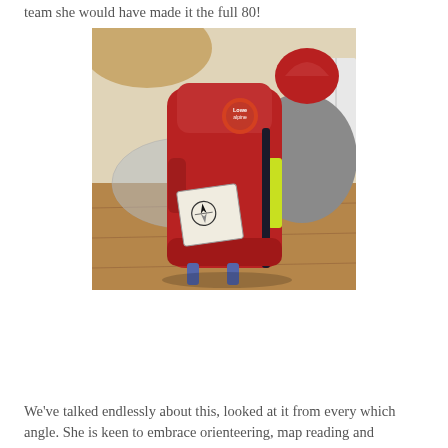team she would have made it the full 80!
[Figure (photo): A red Lowe Alpine backpack sitting on a wooden floor surrounded by outdoor gear including a grey jacket, a red woolly hat, and a clear plastic bag. A label/tag is attached to the front of the backpack with a compass/orienteering marker symbol on it. A yellow-green reflective strip is visible on the side of the pack.]
We've talked endlessly about this, looked at it from every which angle.  She is keen to embrace orienteering, map reading and